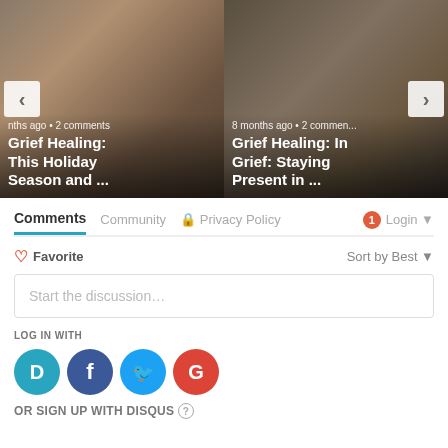[Figure (screenshot): Carousel with two article cards. Left card shows Christmas/holiday items image with text 'nths ago • 2 comments' and title 'Grief Healing: This Holiday Season and ...'. Right card shows hourglass/wine glass image with text '8 months ago • 2 commen...' and title 'Grief Healing: In Grief: Staying Present in ...'. Navigation arrows on left and right sides.]
Comments    Community    🔒 Privacy Policy    1  Login ▾
♡ Favorite
Sort by Best ▾
Start the discussion...
LOG IN WITH
[Figure (logo): Four social login icons: Disqus (D, blue circle), Facebook (f, dark blue circle), Twitter (bird, light blue circle), Google (G, red circle)]
OR SIGN UP WITH DISQUS ?